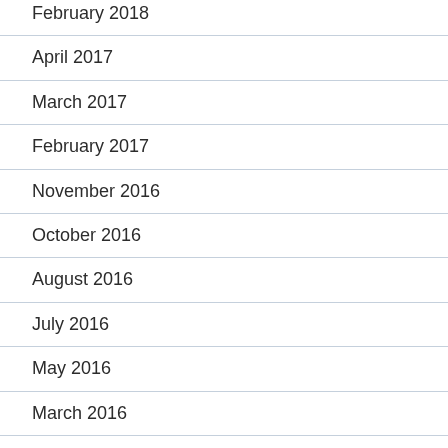February 2018
April 2017
March 2017
February 2017
November 2016
October 2016
August 2016
July 2016
May 2016
March 2016
February 2016
January 2016